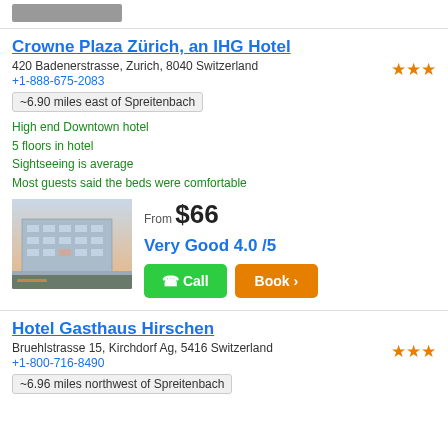[Figure (photo): Partial image at top of page, cropped hotel or map image]
Crowne Plaza Zürich, an IHG Hotel
420 Badenerstrasse, Zurich, 8040 Switzerland
+1-888-675-2083
~6.90 miles east of Spreitenbach
High end Downtown hotel
5 floors in hotel
Sightseeing is average
Most guests said the beds were comfortable
[Figure (photo): Hotel building exterior photo — Crowne Plaza Zürich]
From $66
Very Good 4.0 /5
Call | Book >
Hotel Gasthaus Hirschen
Bruehlstrasse 15, Kirchdorf Ag, 5416 Switzerland
+1-800-716-8490
~6.96 miles northwest of Spreitenbach